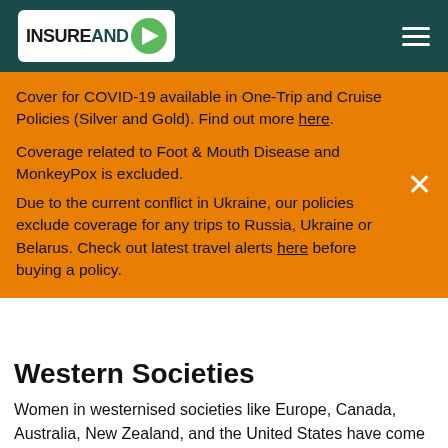INSUREANDGO
Cover for COVID-19 available in One-Trip and Cruise Policies (Silver and Gold). Find out more here.
Coverage related to Foot & Mouth Disease and MonkeyPox is excluded.
Due to the current conflict in Ukraine, our policies exclude coverage for any trips to Russia, Ukraine or Belarus. Check out latest travel alerts here before buying a policy.
Western Societies
Women in westernised societies like Europe, Canada, Australia, New Zealand, and the United States have come a long way in terms of gender equality in the past 100 years. While most women in the past played the role of homemaker and wife, the expectation for them to play this role has since changed dramatically. It is now almost expected that women will enter the